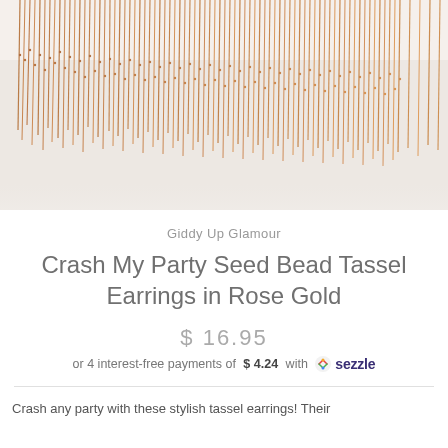[Figure (photo): Close-up photo of rose gold seed bead tassel earrings on a white background, showing dense clusters of small metallic copper/rose gold beads forming fringe-like strands.]
Giddy Up Glamour
Crash My Party Seed Bead Tassel Earrings in Rose Gold
$ 16.95
or 4 interest-free payments of $ 4.24 with Sezzle
Crash any party with these stylish tassel earrings! Their